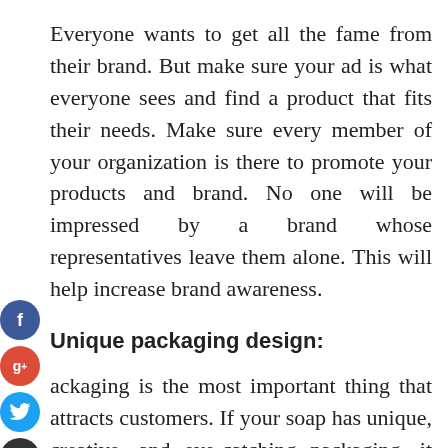Everyone wants to get all the fame from their brand. But make sure your ad is what everyone sees and find a product that fits their needs. Make sure every member of your organization is there to promote your products and brand. No one will be impressed by a brand whose representatives leave them alone. This will help increase brand awareness.
Unique packaging design:
Packaging is the most important thing that attracts customers. If your soap has unique, creative, and eye-catching packaging, it will automatically attract people's attention. However, the best way to attract customers to your brand is to put a logo on the